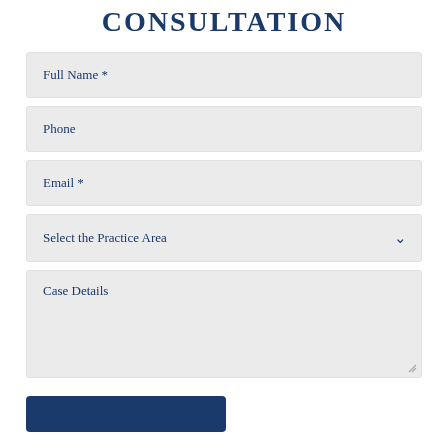CONSULTATION
Full Name *
Phone
Email *
Select the Practice Area
Case Details